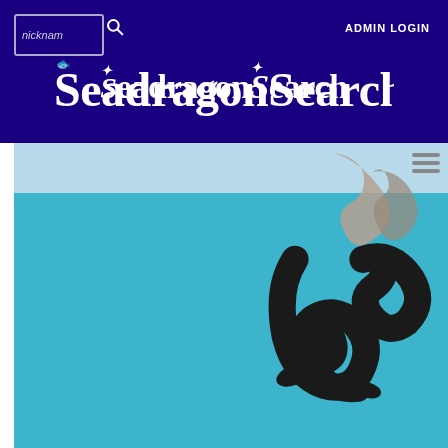[Figure (screenshot): Website screenshot of SeadragonSearch. Dark navy header with search input box labeled 'nicknam', a search icon, 'ADMIN LOGIN' text top right. Large 'SeadragonSearch' logo text in white serif font centered in the header. Below is a two-tone banner: light blue top strip with a hamburger menu icon, and a teal/turquoise main area containing a stylized black sea dragon illustration.]